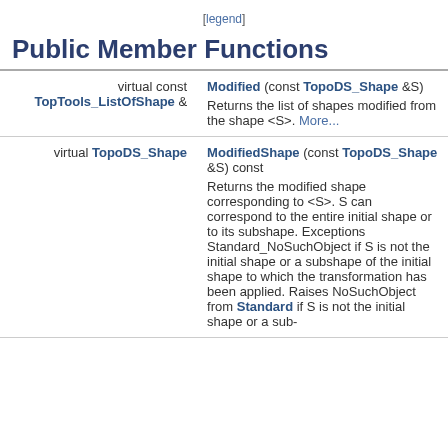[legend]
Public Member Functions
| (modifier) | (function + description) |
| --- | --- |
| virtual const
TopTools_ListOfShape & | Modified (const TopoDS_Shape &S)
Returns the list of shapes modified from the shape <S>. More... |
| virtual TopoDS_Shape | ModifiedShape (const TopoDS_Shape &S) const
Returns the modified shape corresponding to <S>. S can correspond to the entire initial shape or to its subshape. Exceptions Standard_NoSuchObject if S is not the initial shape or a subshape of the initial shape to which the transformation has been applied. Raises NoSuchObject from Standard if S is not the initial shape or a sub- |